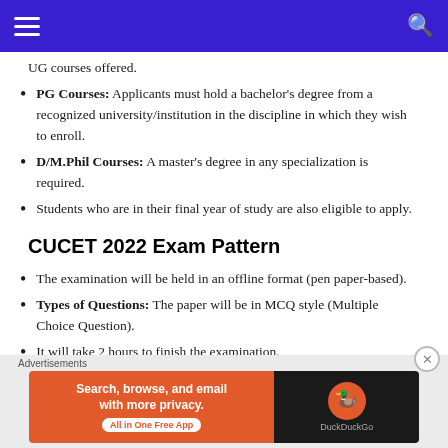Navigation bar with hamburger menu and search icon
UG courses offered.
PG Courses: Applicants must hold a bachelor’s degree from a recognized university/institution in the discipline in which they wish to enroll.
D/M.Phil Courses: A master’s degree in any specialization is required.
Students who are in their final year of study are also eligible to apply.
CUCET 2022 Exam Pattern
The examination will be held in an offline format (pen paper-based).
Types of Questions: The paper will be in MCQ style (Multiple Choice Question).
It will take 2 hours to finish the examination.
Advertisements
[Figure (other): DuckDuckGo advertisement banner: Search, browse, and email with more privacy. All in One Free App. DuckDuckGo logo.]